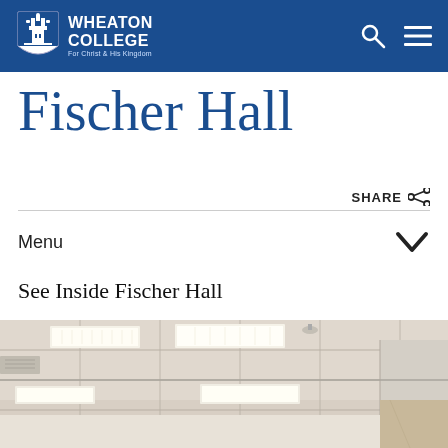Wheaton College — For Christ and His Kingdom
Fischer Hall
SHARE
Menu
See Inside Fischer Hall
[Figure (photo): Interior photograph of Fischer Hall showing a drop ceiling with recessed fluorescent light panels and acoustic tiles, white walls visible in background]